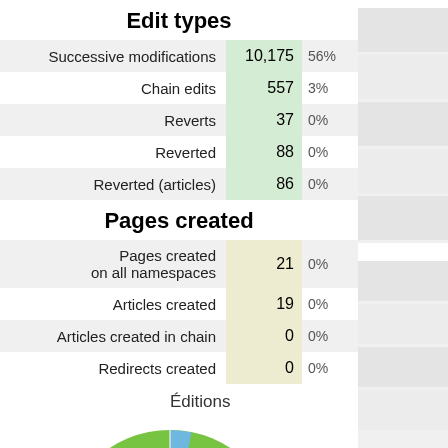Edit types
|  |  |  |
| --- | --- | --- |
| Successive modifications | 10,175 | 56% |
| Chain edits | 557 | 3% |
| Reverts | 37 | 0% |
| Reverted | 88 | 0% |
| Reverted (articles) | 86 | 0% |
Pages created
|  |  |  |
| --- | --- | --- |
| Pages created on all namespaces | 21 | 0% |
| Articles created | 19 | 0% |
| Articles created in chain | 0 | 0% |
| Redirects created | 0 | 0% |
[Figure (pie-chart): Éditions]